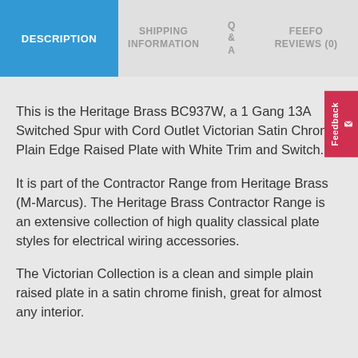DESCRIPTION | SHIPPING INFORMATION | Q & A | FEEFO REVIEWS (0)
This is the Heritage Brass BC937W, a 1 Gang 13A Switched Spur with Cord Outlet Victorian Satin Chrome Plain Edge Raised Plate with White Trim and Switch.
It is part of the Contractor Range from Heritage Brass (M-Marcus). The Heritage Brass Contractor Range is an extensive collection of high quality classical plate styles for electrical wiring accessories.
The Victorian Collection is a clean and simple plain raised plate in a satin chrome finish, great for almost any interior.